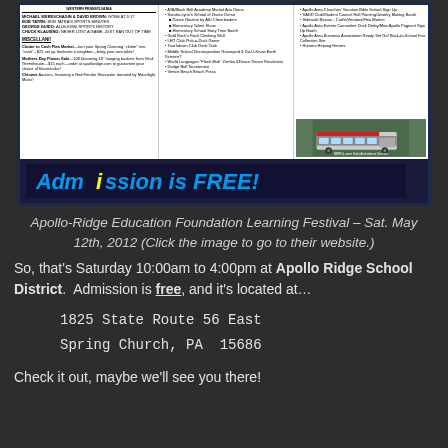[Figure (infographic): Apollo-Ridge Education Foundation Learning Festival flyer with event details, activities listing in multiple columns, image of an ambulance/NERV vehicle, and 'Admission is FREE!' banner at the bottom in blue text on dark background]
Apollo-Ridge Education Foundation Learning Festival – Sat. May 12th, 2012 (Click the image to go to their website.)
So, that's Saturday 10:00am to 4:00pm at Apollo Ridge School District.  Admission is free, and it's located at…
1825 State Route 56 East
Spring Church, PA  15686
Check it out, maybe we'll see you there!